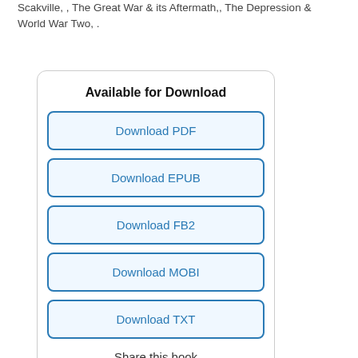Scakville, , The Great War & its Aftermath,, The Depression & World War Two, .
Available for Download
Download PDF
Download EPUB
Download FB2
Download MOBI
Download TXT
Share this book
[Figure (infographic): Social sharing icons: Facebook (blue), Twitter (cyan), Pinterest (red), Telegram (blue)]